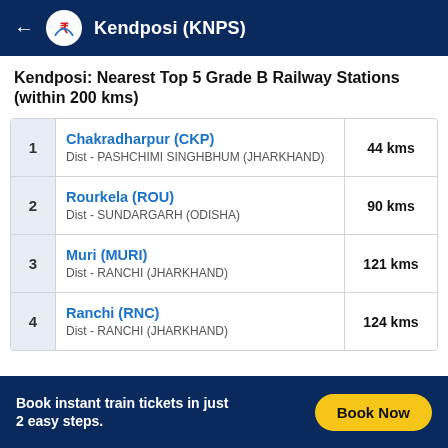Kendposi (KNPS)
Kendposi: Nearest Top 5 Grade B Railway Stations (within 200 kms)
| # | Station | Distance |
| --- | --- | --- |
| 1 | Chakradharpur (CKP)
Dist - PASHCHIMI SINGHBHUM (JHARKHAND) | 44 kms |
| 2 | Rourkela (ROU)
Dist - SUNDARGARH (ODISHA) | 90 kms |
| 3 | Muri (MURI)
Dist - RANCHI (JHARKHAND) | 121 kms |
| 4 | Ranchi (RNC)
Dist - RANCHI (JHARKHAND) | 124 kms |
Book instant train tickets in just 2 easy steps.